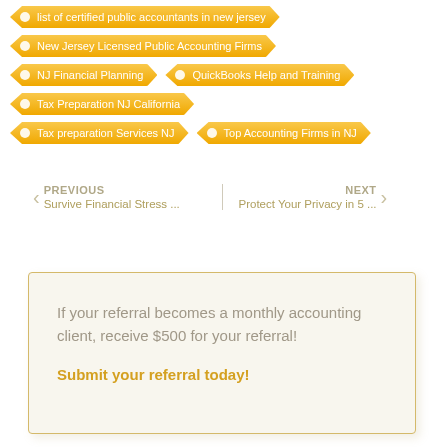list of certified public accountants in new jersey
New Jersey Licensed Public Accounting Firms
NJ Financial Planning
QuickBooks Help and Training
Tax Preparation NJ California
Tax preparation Services NJ
Top Accounting Firms in NJ
PREVIOUS
Survive Financial Stress ...
NEXT
Protect Your Privacy in 5 ...
If your referral becomes a monthly accounting client, receive $500 for your referral!
Submit your referral today!